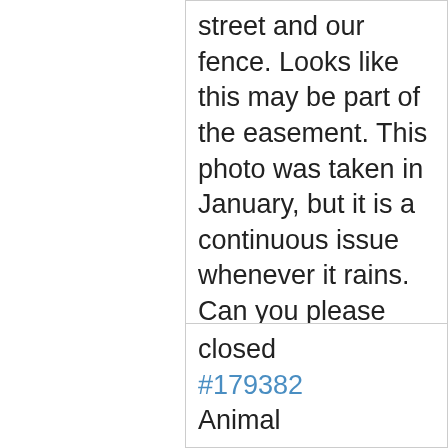street and our fence. Looks like this may be part of the easement. This photo was taken in January, but it is a continuous issue whenever it rains. Can you please contact me to discuss this? Thank you!
closed #179382 Animal